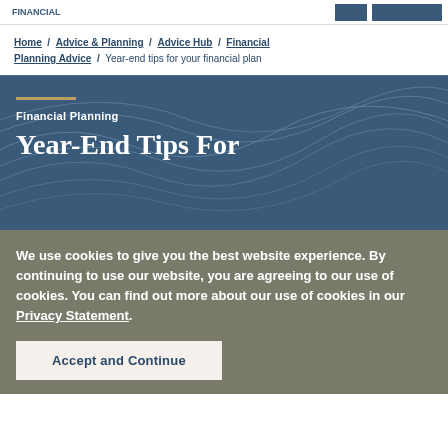FINANCIAL
Home / Advice & Planning / Advice Hub / Financial Planning Advice / Year-end tips for your financial plan
Financial Planning
Year-End Tips For
We use cookies to give you the best website experience. By continuing to use our website, you are agreeing to our use of cookies. You can find out more about our use of cookies in our Privacy Statement.
Accept and Continue